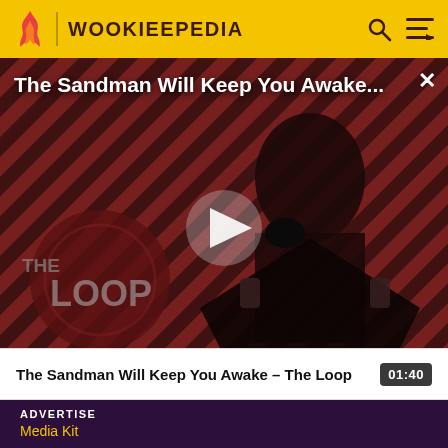WOOKIEEPEDIA
[Figure (screenshot): Video thumbnail showing a dark-robed figure (Sandman) with a raven on a striped red-and-black background, with THE LOOP logo in bottom left, play button in center, and video title overlay at top]
The Sandman Will Keep You Awake - The Loop 01:40
ADVERTISE
Media Kit